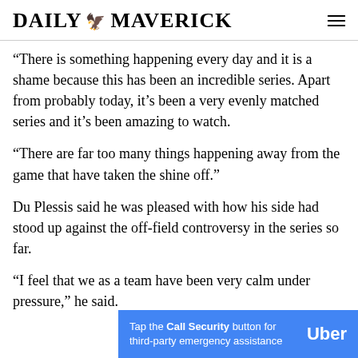DAILY MAVERICK
“There is something happening every day and it is a shame because this has been an incredible series. Apart from probably today, it’s been a very evenly matched series and it’s been amazing to watch.
“There are far too many things happening away from the game that have taken the shine off.”
Du Plessis said he was pleased with how his side had stood up against the off-field controversy in the series so far.
“I feel that we as a team have been very calm under pressure,” he said.
[Figure (other): Uber advertisement banner: Tap the Call Security button for third-party emergency assistance]